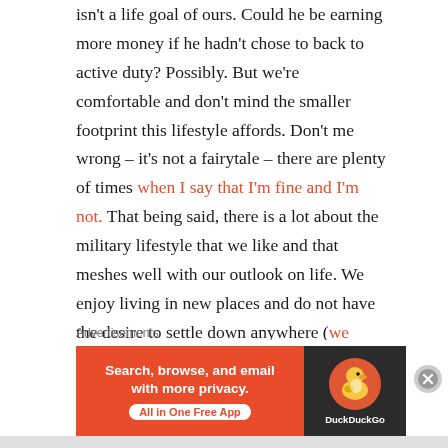isn't a life goal of ours. Could he be earning more money if he hadn't chose to back to active duty? Possibly. But we're comfortable and don't mind the smaller footprint this lifestyle affords. Don't me wrong – it's not a fairytale – there are plenty of times when I say that I'm fine and I'm not. That being said, there is a lot about the military lifestyle that we like and that meshes well with our outlook on life. We enjoy living in new places and do not have the desire to settle down anywhere (we haven't found 'our' place yet). If we were absolutely content staying in one place and...
Advertisements
[Figure (other): DuckDuckGo advertisement banner: orange left panel with bold white text 'Search, browse, and email with more privacy.' and white pill button 'All in One Free App', dark right panel with DuckDuckGo duck logo and brand name.]